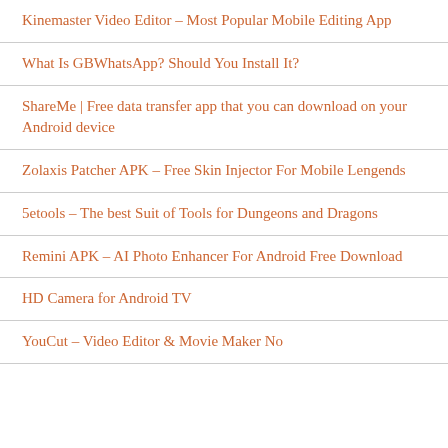Kinemaster Video Editor – Most Popular Mobile Editing App
What Is GBWhatsApp? Should You Install It?
ShareMe | Free data transfer app that you can download on your Android device
Zolaxis Patcher APK – Free Skin Injector For Mobile Lengends
5etools – The best Suit of Tools for Dungeons and Dragons
Remini APK – AI Photo Enhancer For Android Free Download
HD Camera for Android TV
YouCut – Video Editor & Movie Maker No